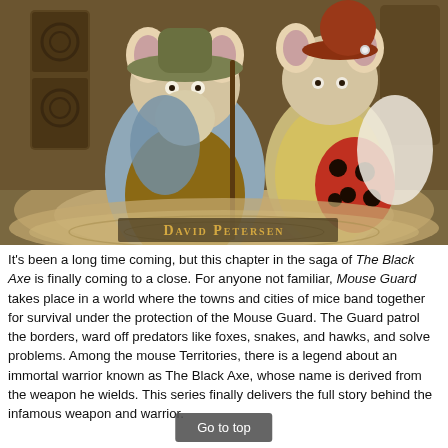[Figure (illustration): Comic book illustration showing two anthropomorphic mice characters in medieval attire seated on a decorative floor. Text 'DAVID PETERSEN' appears at the bottom of the illustration.]
It's been a long time coming, but this chapter in the saga of The Black Axe is finally coming to a close. For anyone not familiar, Mouse Guard takes place in a world where the towns and cities of mice band together for survival under the protection of the Mouse Guard. The Guard patrol the borders, ward off predators like foxes, snakes, and hawks, and solve problems. Among the mouse Territories, there is a legend about an immortal warrior known as The Black Axe, whose name is derived from the weapon he wields. This series finally delivers the full story behind the infamous weapon and warrior.